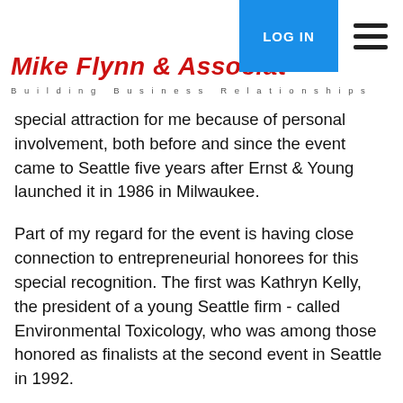Mike Flynn & Associates — Building Business Relationships | LOG IN
special attraction for me because of personal involvement, both before and since the event came to Seattle five years after Ernst & Young launched it in 1986 in Milwaukee.
Part of my regard for the event is having close connection to entrepreneurial honorees for this special recognition. The first was Kathryn Kelly, the president of a young Seattle firm - called Environmental Toxicology, who was among those honored as finalists at the second event in Seattle in 1992.
Then came Pete Chase, CEO of Spokane-based Purcell Systems, who won in the communications category in 2006 and became a judge in the following three years, before guiding the sale or his company and launching a new company, Columbia International Finance, for whom I am doing some consulting.